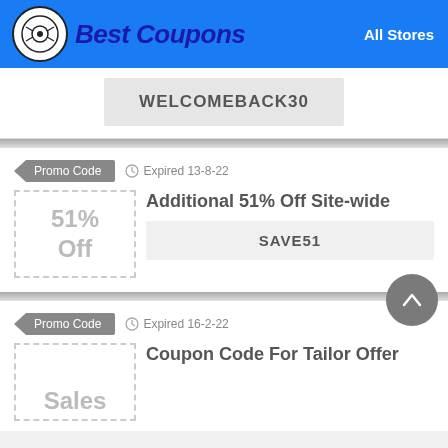Best Coupons  All Stores
WELCOMEBACK30
Promo Code  Expired 13-8-22
Additional 51% Off Site-wide
SAVE51
Promo Code  Expired 16-2-22
Coupon Code For Tailor Offer
Sales